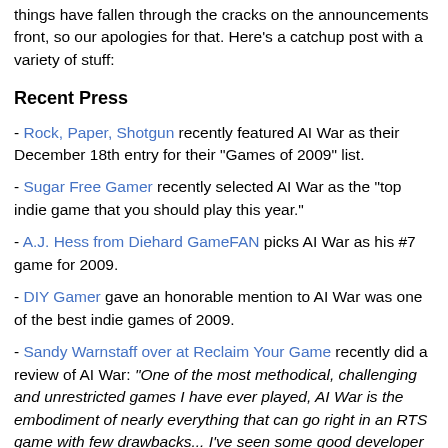things have fallen through the cracks on the announcements front, so our apologies for that. Here's a catchup post with a variety of stuff:
Recent Press
- Rock, Paper, Shotgun recently featured AI War as their December 18th entry for their "Games of 2009" list.
- Sugar Free Gamer recently selected AI War as the "top indie game that you should play this year."
- A.J. Hess from Diehard GameFAN picks AI War as his #7 game for 2009.
- DIY Gamer gave an honorable mention to AI War was one of the best indie games of 2009.
- Sandy Warnstaff over at Reclaim Your Game recently did a review of AI War: "One of the most methodical, challenging and unrestricted games I have ever played, AI War is the embodiment of nearly everything that can go right in an RTS game with few drawbacks... I've seen some good developer comments, but Arcen Games really deserves the added visibility."